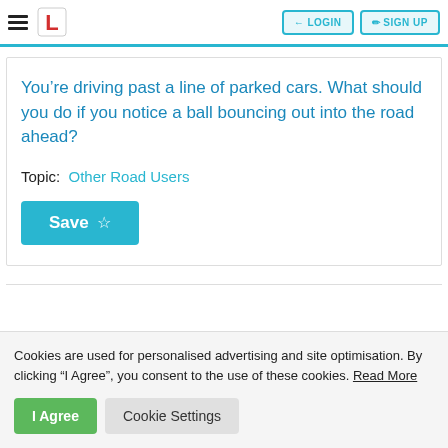LOGIN  SIGN UP
You’re driving past a line of parked cars. What should you do if you notice a ball bouncing out into the road ahead?
Topic:  Other Road Users
Save ☆
Cookies are used for personalised advertising and site optimisation. By clicking “I Agree”, you consent to the use of these cookies. Read More
I Agree   Cookie Settings